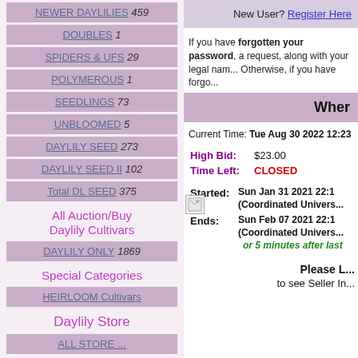NEWER DAYLILIES 459
DOUBLES 1
SPIDERS & UFS 29
POLYMEROUS 1
SEEDLINGS 73
UNBLOOMED 5
DAYLILY SEED 273
DAYLILY SEED II 102
Total DL SEED 375
All Auction/Buy Daylily Cultivars
DAYLILY ONLY 1869
Special Categories
HEIRLOOM Cultivars
Daylily Store
New User? Register Here
If you have forgotten your password, a request, along with your legal nam... Otherwise, if you have forgo...
Wher
Current Time: Tue Aug 30 2022 12:23
High Bid: $23.00
Time Left: CLOSED
Started: Sun Jan 31 2021 22:1 (Coordinated Univers...
Ends: Sun Feb 07 2021 22:1 (Coordinated Univers... or 5 minutes after last
Please L... to see Seller In...